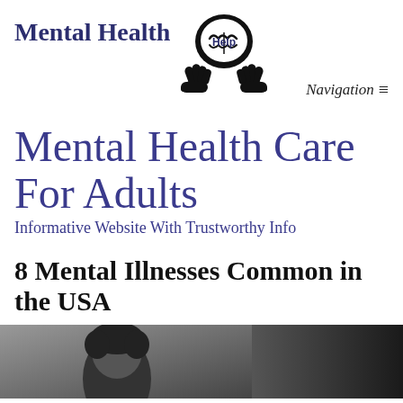Mental Health Help — Navigation ≡
Mental Health Care For Adults
Informative Website With Trustworthy Info
8 Mental Illnesses Common in the USA
[Figure (photo): Black and white photo of a person, cropped at the top of the page content area, with a dark background on the right side.]